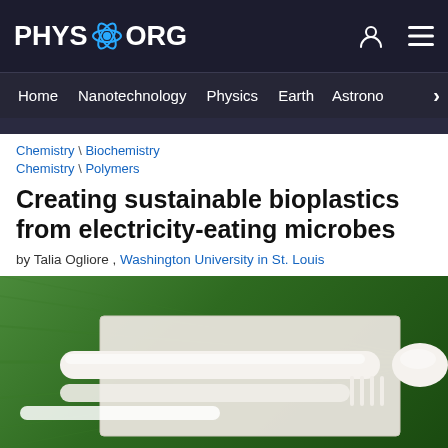PHYS.ORG — Home | Nanotechnology | Physics | Earth | Astronomy
Chemistry \ Biochemistry  |  Chemistry \ Polymers
Creating sustainable bioplastics from electricity-eating microbes
by Talia Ogliore , Washington University in St. Louis
[Figure (photo): White bioplastic spoon and cutlery set resting on a white napkin against a green leaf background, representing sustainable bioplastics.]